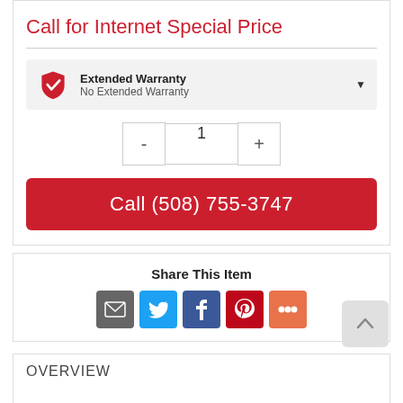Call for Internet Special Price
Extended Warranty
No Extended Warranty
1
Call (508) 755-3747
Share This Item
[Figure (infographic): Social share icons: email (grey), Twitter (blue), Facebook (dark blue), Pinterest (red), More (orange)]
[Figure (other): Scroll to top button with up arrow]
OVERVIEW